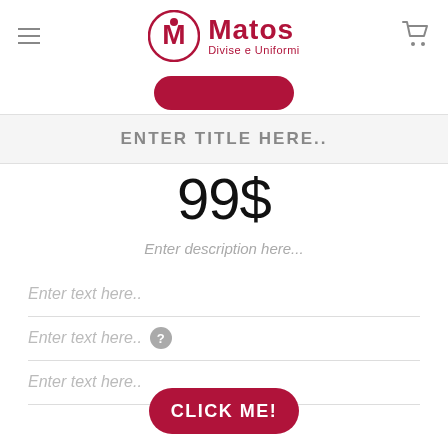[Figure (logo): Matos Divise e Uniformi logo with circular M icon and brand name in dark red]
ENTER TITLE HERE..
99$
Enter description here...
Enter text here..
Enter text here..
Enter text here..
CLICK ME!